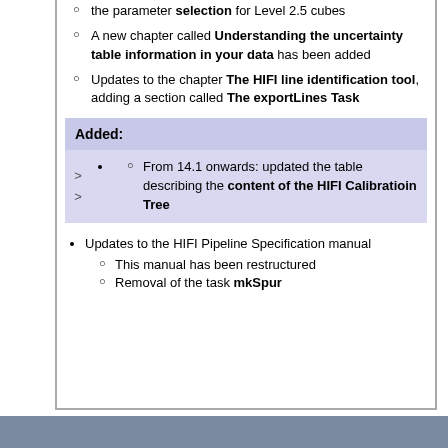the parameter selection for Level 2.5 cubes
A new chapter called Understanding the uncertainty table information in your data has been added
Updates to the chapter The HIFI line identification tool, adding a section called The exportLines Task
Added:
From 14.1 onwards: updated the table describing the content of the HIFI Calibratioin Tree
Updates to the HIFI Pipeline Specification manual
This manual has been restructured
Removal of the task mkSpur